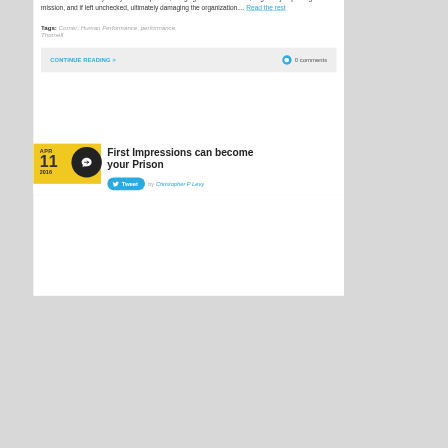difficulty.
The remaining 10% seem to be exactly the opposite. They require 90% of the supervisor, manager, or leader’s time and they rarely do as expected, bringing unrest to the 90%, negatively impacting the mission, and if left unchecked, ultimately damaging the organization.... Read the rest
Tags: Corner, Human Performance, performance, Thornell
CONTINUE READING >
0 comments
First Impressions can become your Prison
Tweet  by Christopher P Levy